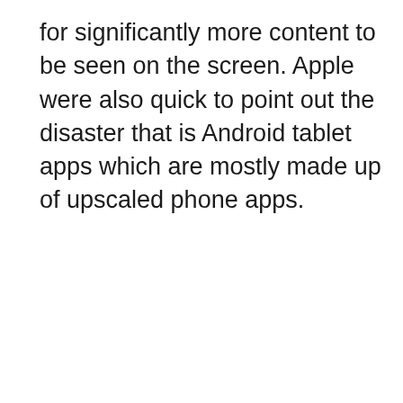for significantly more content to be seen on the screen. Apple were also quick to point out the disaster that is Android tablet apps which are mostly made up of upscaled phone apps.